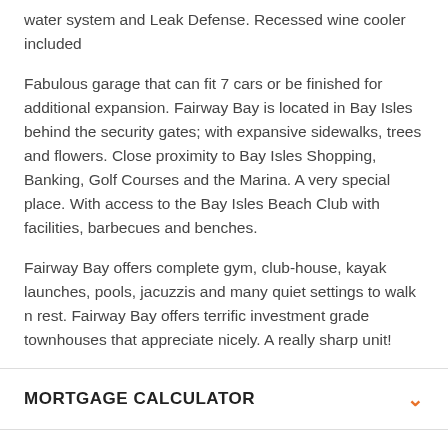water system and Leak Defense. Recessed wine cooler included
Fabulous garage that can fit 7 cars or be finished for additional expansion. Fairway Bay is located in Bay Isles behind the security gates; with expansive sidewalks, trees and flowers. Close proximity to Bay Isles Shopping, Banking, Golf Courses and the Marina. A very special place. With access to the Bay Isles Beach Club with facilities, barbecues and benches.
Fairway Bay offers complete gym, club-house, kayak launches, pools, jacuzzis and many quiet settings to walk n rest. Fairway Bay offers terrific investment grade townhouses that appreciate nicely. A really sharp unit!
MORTGAGE CALCULATOR
DETAILED MAPS
PRICE CHANGE HISTORY